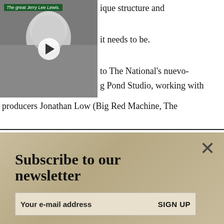[Figure (photo): Black and white video thumbnail of Jerry Lee Lewis smiling, with a play button overlay and caption 'The great Jerry Lee Lewis.']
ique structure and it needs to be.
to The National's nuevo- g Pond Studio, working with producers Jonathan Low (Big Red Machine, The
Subscribe to our newsletter
Your e-mail address   SIGN UP
culmination of Nap Eyes creating one of their most richly dense and inherently intriguing records to date and the time we all have now to fully enjoy it. The album may have been recorded on the fly but the